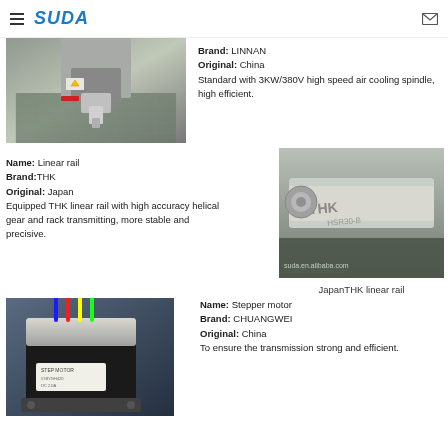SUDA
[Figure (photo): CNC spindle machine head close-up photo]
Brand: LINNAN
Original: China
Standard with 3KW/380V high speed air cooling spindle, high efficient.
Name: Linear rail
Brand: THK
Original: Japan
Equipped THK linear rail with high accuracy helical gear and rack transmitting, more stable and precisive.
[Figure (photo): Japan THK linear rail close-up photo with branding visible]
Japan THK linear rail
[Figure (photo): Stepper motor photo showing black/silver motor with colored wires]
Name: Stepper motor
Brand: CHUANGWEI
Original: China
To ensure the transmission strong and efficient.